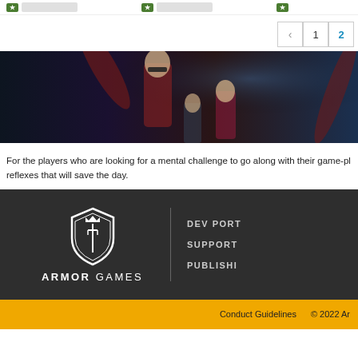[Figure (screenshot): Game banner with ESRB Mature 17+ rating box on left and game characters on dark background]
For the players who are looking for a mental challenge to go along with their game-playing reflexes that will save the day.
[Figure (logo): Armor Games logo with shield icon and ARMOR GAMES wordmark in white on dark background]
DEV PORT
SUPPORT
PUBLISH
Conduct Guidelines    © 2022 Armor Games